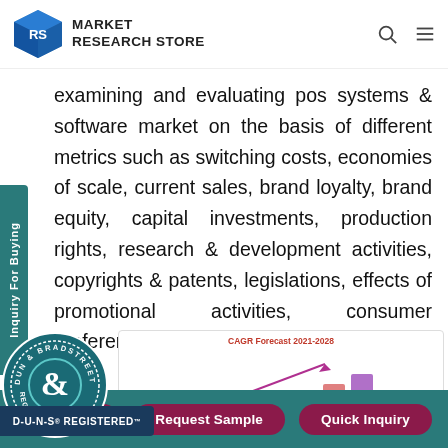Market Research Store
examining and evaluating pos systems & software market on the basis of different metrics such as switching costs, economies of scale, current sales, brand loyalty, brand equity, capital investments, production rights, research & development activities, copyrights & patents, legislations, effects of promotional activities, consumer preferences.
[Figure (other): D-U-N-S Registered badge with Dun & Bradstreet circular seal]
[Figure (bar-chart): CAGR Forecast 2021-2028 bar chart preview with upward trend arrow and bars]
Buy Now | Request Sample | Quick Inquiry